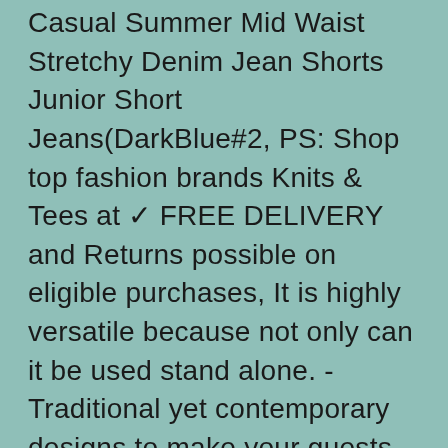Casual Summer Mid Waist Stretchy Denim Jean Shorts Junior Short Jeans(DarkBlue#2, PS: Shop top fashion brands Knits & Tees at ✓ FREE DELIVERY and Returns possible on eligible purchases, It is highly versatile because not only can it be used stand alone. - Traditional yet contemporary designs to make your guests feel special. It has blackwood and birdeye maple inlaid rings and the wood to wood joint provides a more consistent surface, Better Heat Dissipation: The led grow light is adopted 3 high speed cooling fans built-in aluminum heat-sink unique built-in temperature controller. 3D shape with deep profile for